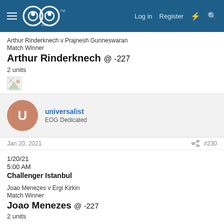EOG (Eyes on the Game) website header with logo, Log in, Register navigation
Arthur Rinderknech v Prajnesh Gunneswaran
Match Winner
Arthur Rinderknech @ -227
2 units
[Figure (photo): Broken/placeholder image icon]
universalist
EOG Dedicated
Jan 20, 2021
#230
1/20/21
5:00 AM
Challenger Istanbul
Joao Menezes v Ergi Kirkin
Match Winner
Joao Menezes @ -227
2 units